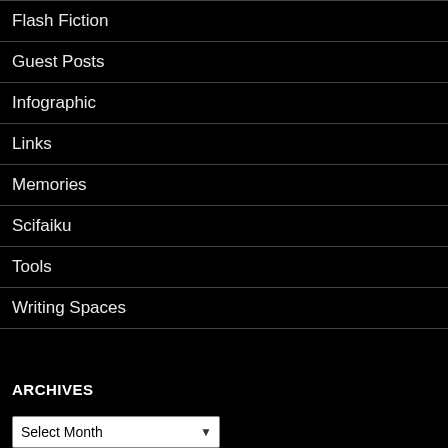Flash Fiction
Guest Posts
Infographic
Links
Memories
Scifaiku
Tools
Writing Spaces
ARCHIVES
Select Month